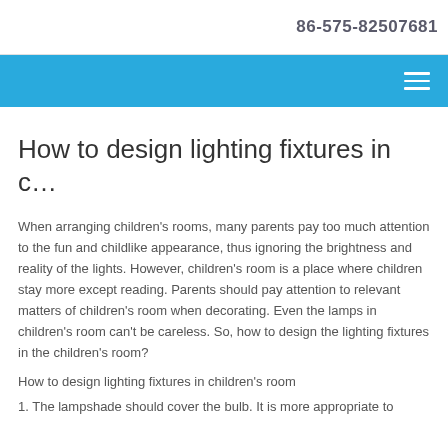86-575-82507681
How to design lighting fixtures in c…
When arranging children's rooms, many parents pay too much attention to the fun and childlike appearance, thus ignoring the brightness and reality of the lights. However, children's room is a place where children stay more except reading. Parents should pay attention to relevant matters of children's room when decorating. Even the lamps in children's room can't be careless. So, how to design the lighting fixtures in the children's room?
How to design lighting fixtures in children's room
1. The lampshade should cover the bulb. It is more appropriate to